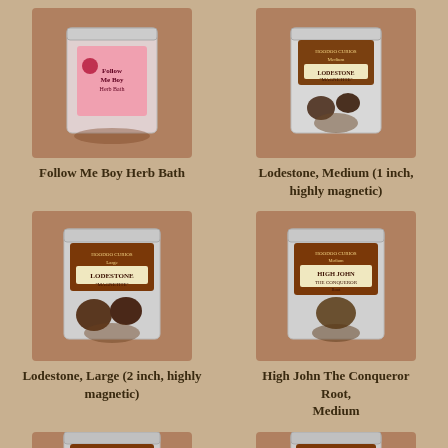[Figure (photo): Pink labeled bag product: Follow Me Boy Herb Bath]
Follow Me Boy Herb Bath
[Figure (photo): Silver/clear labeled bag: Lodestone, Medium (1 inch, highly magnetic)]
Lodestone, Medium (1 inch, highly magnetic)
[Figure (photo): Silver/clear labeled bag: Lodestone, Large (2 inch, highly magnetic)]
Lodestone, Large (2 inch, highly magnetic)
[Figure (photo): Silver/clear labeled bag: High John The Conqueror Root, Medium]
High John The Conqueror Root, Medium
[Figure (photo): Silver/clear labeled bag: High John The Conqueror (large), partially visible at bottom]
[Figure (photo): Silver/clear labeled bag: partially visible at bottom right]